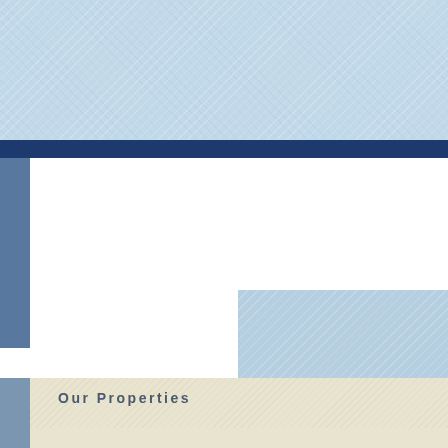[Figure (photo): Top blue textured denim-style banner background]
[Figure (photo): Dark navy horizontal navigation bar]
[Figure (photo): White content area with light blue right panel]
Our Properties
[Figure (photo): Photo of a gray two-story house at 78 Owasco St, Auburn NY]
78 Owasco St
Auburn, NY
For Rent
$850/month
[Figure (photo): Photo of a white garage/small building at 287 Seymour St, Auburn NY]
287 Seymour St.
Auburn, NY